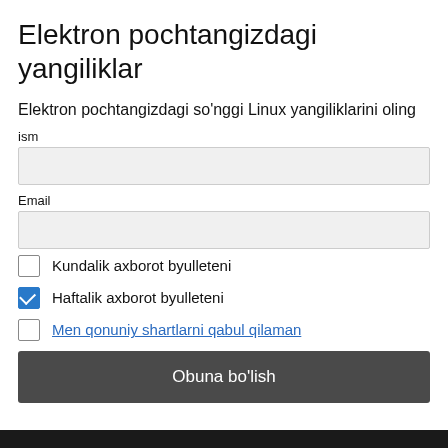Elektron pochtangizdagi yangiliklar
Elektron pochtangizdagi so'nggi Linux yangiliklarini oling
ism
Email
Kundalik axborot byulleteni
Haftalik axborot byulleteni
Men qonuniy shartlarni qabul qilaman
Obuna bo'lish